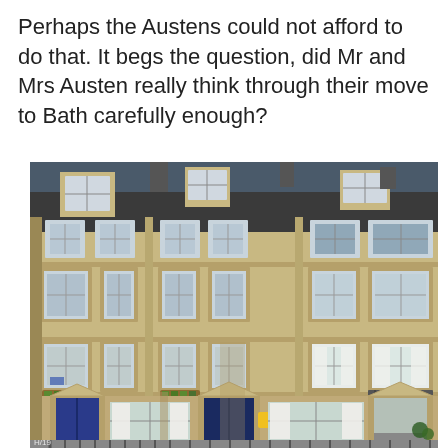Perhaps the Austens could not afford to do that. It begs the question, did Mr and Mrs Austen really think through their move to Bath carefully enough?
[Figure (photo): Photograph of a Georgian terraced building in Bath, showing a multi-storey stone facade with sash windows, decorative cornices, window box flower boxes, classical entrance porticos with pediments, and a dark slate roof with dormer windows. The building is characteristic of Bath's Regency-era architecture.]